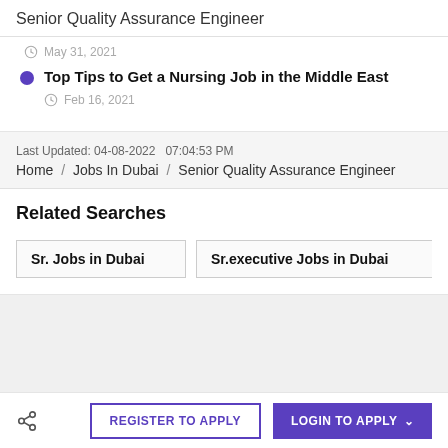Senior Quality Assurance Engineer
Top Tips to Get a Nursing Job in the Middle East
Feb 16, 2021
Last Updated: 04-08-2022  07:04:53 PM
Home / Jobs In Dubai / Senior Quality Assurance Engineer
Related Searches
Sr. Jobs in Dubai
Sr.executive Jobs in Dubai
Se
REGISTER TO APPLY   LOGIN TO APPLY